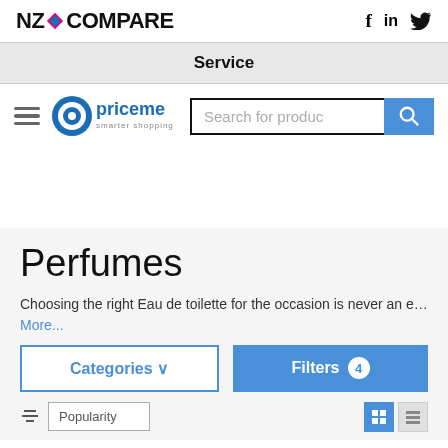[Figure (logo): NZ Compare logo with diamond icon]
[Figure (logo): Social media icons: f (Facebook), in (LinkedIn), bird (Twitter)]
Service
[Figure (logo): PriceMe smarter shopping logo with hamburger menu and search bar]
Perfumes
Choosing the right Eau de toilette for the occasion is never an e…
More...
Categories ∨
Filters 4